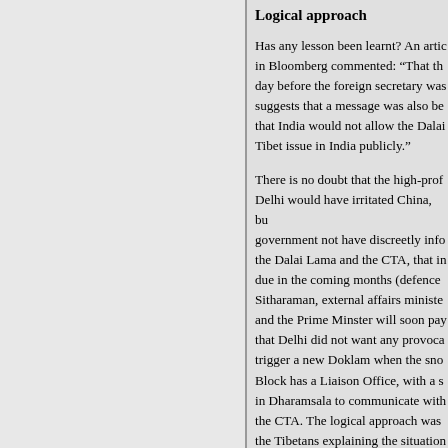Logical approach
Has any lesson been learnt? An article in Bloomberg commented: “That the day before the foreign secretary was suggests that a message was also be that India would not allow the Dalai Tibet issue in India publicly.”
There is no doubt that the high-prof Delhi would have irritated China, bu government not have discreetly info the Dalai Lama and the CTA, that in due in the coming months (defence Sitharaman, external affairs ministe and the Prime Minster will soon pay that Delhi did not want any provoca trigger a new Doklam when the sno Block has a Liaison Office, with a s in Dharamsala to communicate with the CTA. The logical approach was the Tibetans explaining the situation